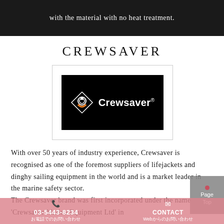with the material with no heat treatment.
CREWSAVER
[Figure (logo): Crewsaver brand logo — white diamond shape with a lifebuoy icon on black background, with the text 'Crewsaver' in white bold lettering]
With over 50 years of industry experience, Crewsaver is recognised as one of the foremost suppliers of lifejackets and dinghy sailing equipment in the world and is a market leader in the marine safety sector. The Crewsaver brand was first incorporated under the name 'Crewsaver Marine Equipment Ltd' in
03-5443-8234　お電話でのお問い合わせ　CONTACT　Webからのお問い合わせ